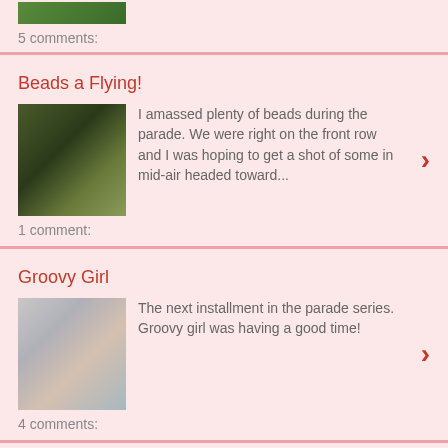5 comments:
Beads a Flying!
[Figure (photo): Thumbnail photo related to Beads a Flying post]
I amassed plenty of beads during the parade. We were right on the front row and I was hoping to get a shot of some in mid-air headed toward...
1 comment:
Groovy Girl
[Figure (photo): Thumbnail photo of groovy girl at parade]
The next installment in the parade series. Groovy girl was having a good time!
4 comments:
Potato Truck